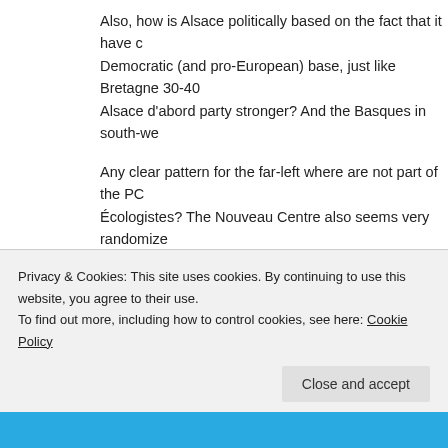Also, how is Alsace politically based on the fact that it have c Democratic (and pro-European) base, just like Bretagne 30-40 Alsace d'abord party stronger? And the Basques in south-we
Any clear pattern for the far-left where are not part of the PC Écologistes? The Nouveau Centre also seems very randomize are they former UDF members for the most?
glhermine | October 3, 2010 at 19:11
@matvail2002. I'm not quite sure what you mean by "liberals" liberal (Orleanist) tradition is pretty much integrated in the ce
Privacy & Cookies: This site uses cookies. By continuing to use this website, you agree to their use.
To find out more, including how to control cookies, see here: Cookie Policy
Close and accept